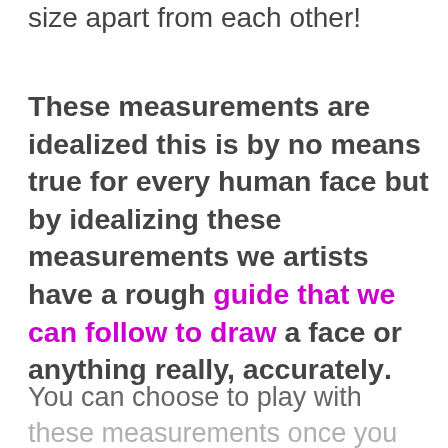size apart from each other!
These measurements are idealized this is by no means true for every human face but by idealizing these measurements we artists have a rough guide that we can follow to draw a face or anything really, accurately.
You can choose to play with
these measurements once you